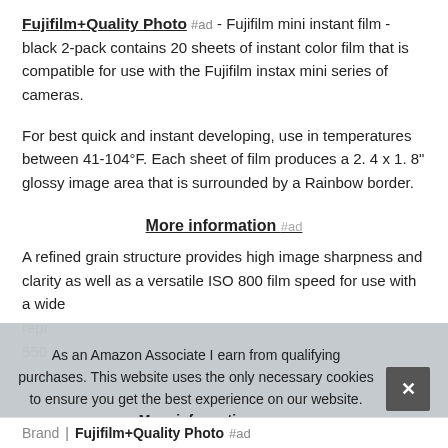Fujifilm+Quality Photo #ad - Fujifilm mini instant film - black 2-pack contains 20 sheets of instant color film that is compatible for use with the Fujifilm instax mini series of cameras.
For best quick and instant developing, use in temperatures between 41-104°F. Each sheet of film produces a 2. 4 x 1. 8" glossy image area that is surrounded by a Rainbow border.
More information #ad
A refined grain structure provides high image sharpness and clarity as well as a versatile ISO 800 film speed for use with a wide range of subjects. This film features a minimum... repr... 550...
As an Amazon Associate I earn from qualifying purchases. This website uses the only necessary cookies to ensure you get the best experience on our website. More information
| Brand |
| --- |
| Fujifilm+Quality Photo #ad |